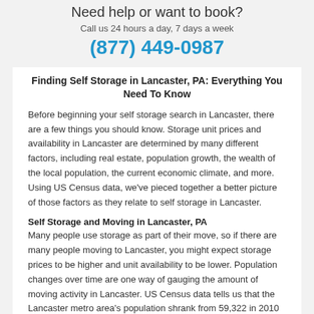Need help or want to book?
Call us 24 hours a day, 7 days a week
(877) 449-0987
Finding Self Storage in Lancaster, PA: Everything You Need To Know
Before beginning your self storage search in Lancaster, there are a few things you should know. Storage unit prices and availability in Lancaster are determined by many different factors, including real estate, population growth, the wealth of the local population, the current economic climate, and more. Using US Census data, we've pieced together a better picture of those factors as they relate to self storage in Lancaster.
Self Storage and Moving in Lancaster, PA
Many people use storage as part of their move, so if there are many people moving to Lancaster, you might expect storage prices to be higher and unit availability to be lower. Population changes over time are one way of gauging the amount of moving activity in Lancaster. US Census data tells us that the Lancaster metro area's population shrank from 59,322 in 2010 to 59,322 in 2014, a decline of 0.05%.